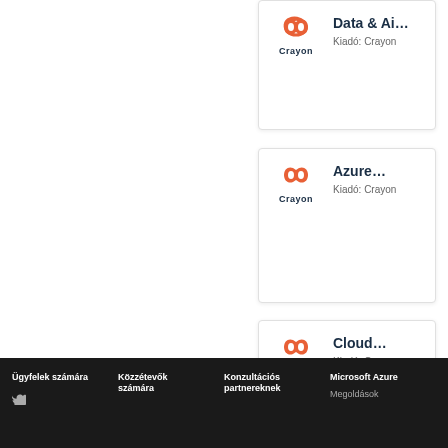[Figure (logo): Crayon logo with orange infinity/link icon and 'Crayon' text below, card titled 'Data & Ai...' with 'Kiadó: Crayon']
[Figure (logo): Crayon logo with orange infinity/link icon and 'Crayon' text below, card titled 'Azure...' with 'Kiadó: Crayon']
[Figure (logo): Crayon logo with orange infinity/link icon and 'Crayon' text below, card titled 'Cloud...' with 'Kiadó: Crayon']
Ügyfelek számára | Közzétevők számára | Konzultációs partnereknek | Microsoft Azure Megoldások